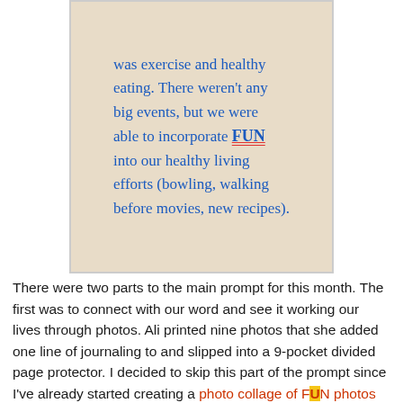[Figure (photo): A handwritten note on white paper with a green border, photographed on a wooden surface. The handwriting is in blue ink and reads: 'was exercise and healthy eating. There weren't any big events, but we were able to incorporate FUN into our healthy living efforts (bowling, walking before movies, new recipes).' The word FUN is underlined in red.]
There were two parts to the main prompt for this month. The first was to connect with our word and see it working our lives through photos. Ali printed nine photos that she added one line of journaling to and slipped into a 9-pocket divided page protector. I decided to skip this part of the prompt since I've already started creating a photo collage of FUN photos each month. I'm printing the collages and adding them to my One Little Word binder, so I'm definitely seeing my word working in my life each month through photos.